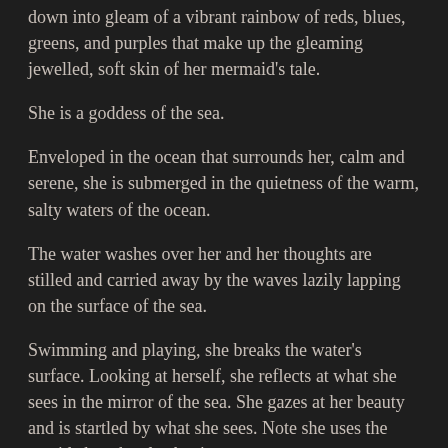down into gleam of a vibrant rainbow of reds, blues, greens, and purples that make up the gleaming jewelled, soft skin of her mermaid's tale.
She is a goddess of the sea.
Enveloped in the ocean that surrounds her, calm and serene, she is submerged in the quietness of the warm, salty waters of the ocean.
The water washes over her and her thoughts are stilled and carried away by the waves lazily lapping on the surface of the sea.
Swimming and playing, she breaks the water's surface. Looking at herself, she reflects at what she sees in the mirror of the sea. She gazes at her beauty and is startled by what she sees. Note she uses the outside but she also begins to start